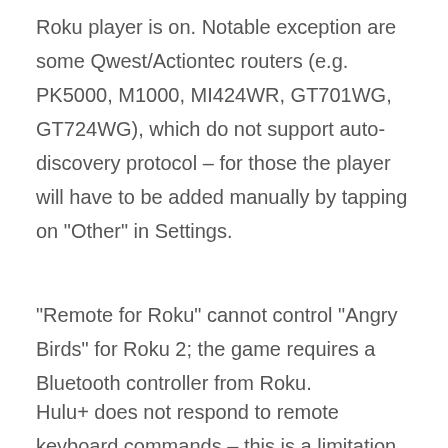Roku player is on. Notable exception are some Qwest/Actiontec routers (e.g. PK5000, M1000, MI424WR, GT701WG, GT724WG), which do not support auto-discovery protocol – for those the player will have to be added manually by tapping on "Other" in Settings.
"Remote for Roku" cannot control "Angry Birds" for Roku 2; the game requires a Bluetooth controller from Roku.
Hulu+ does not respond to remote keyboard commands – this is a limitation